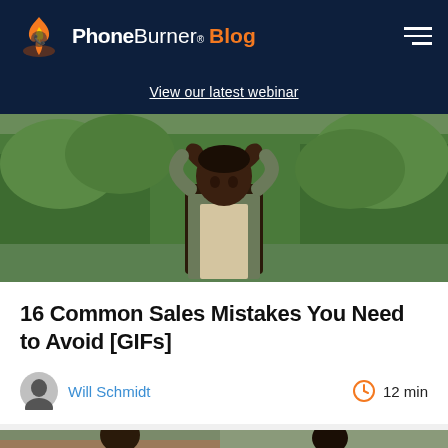PhoneBurner® Blog
View our latest webinar
[Figure (photo): Man holding his head in his hands, looking stressed, outdoors with green trees in background]
16 Common Sales Mistakes You Need to Avoid [GIFs]
Will Schmidt
12 min
[Figure (photo): Partially visible photo at the bottom of the page, appears to show a person]